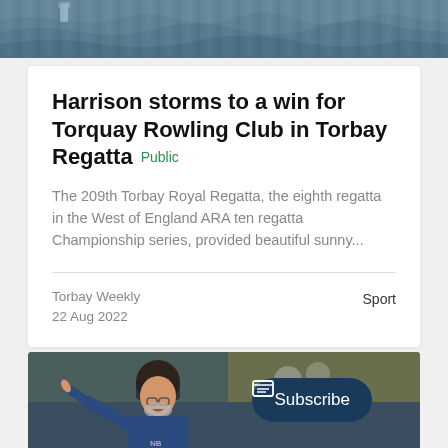[Figure (photo): Aerial water/rowing scene photo at top of page]
Harrison storms to a win for Torquay Rowling Club in Torbay Regatta Public
The 209th Torbay Royal Regatta, the eighth regatta in the West of England ARA ten regatta Championship series, provided beautiful sunny...
Torbay Weekly
22 Aug 2022
Sport
[Figure (photo): Man in dark cap and blue jacket pointing, with Subscribe button overlay]